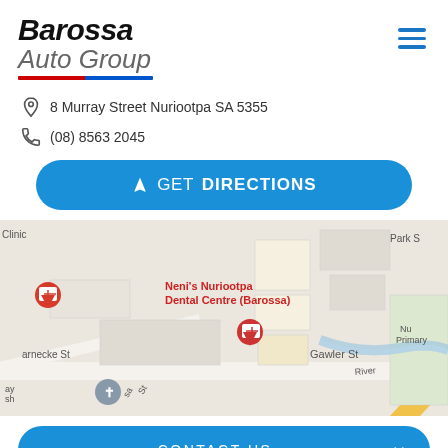[Figure (logo): Barossa Auto Group logo with italic bold text and red-blue underline stripe]
8 Murray Street Nuriootpa SA 5355
(08) 8563 2045
GET DIRECTIONS
[Figure (map): Street map showing Nuriootpa area with Murray Street, Gawler Street, Neni's Nuriootpa Dental Centre (Barossa), Barnecke St, Park St, Nu Primary school, and map pins]
CONTACT US
FINANCE THIS VEHICLE